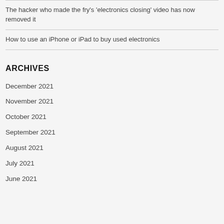The hacker who made the fry’s ‘electronics closing’ video has now removed it
How to use an iPhone or iPad to buy used electronics
ARCHIVES
December 2021
November 2021
October 2021
September 2021
August 2021
July 2021
June 2021